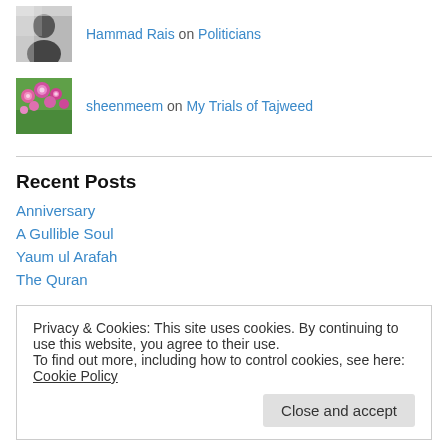[Figure (photo): Black and white avatar photo of a person]
Hammad Rais on Politicians
[Figure (photo): Colorful flowers photo used as avatar]
sheenmeem on My Trials of Tajweed
Recent Posts
Anniversary
A Gullible Soul
Yaum ul Arafah
The Quran
Privacy & Cookies: This site uses cookies. By continuing to use this website, you agree to their use.
To find out more, including how to control cookies, see here: Cookie Policy